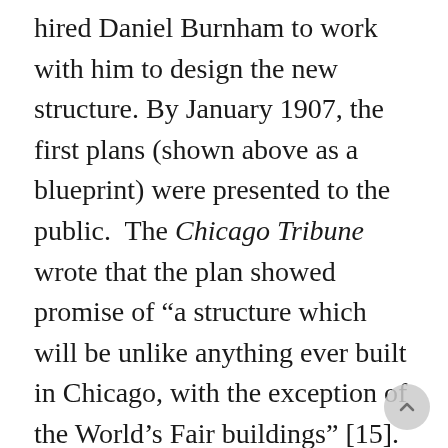hired Daniel Burnham to work with him to design the new structure. By January 1907, the first plans (shown above as a blueprint) were presented to the public. The Chicago Tribune wrote that the plan showed promise of “a structure which will be unlike anything ever built in Chicago, with the exception of the World’s Fair buildings” [15]. Construction of the stately, multimillion square foot marble-clad structure” which cost an exorbitant $6,750,000 [16], was completed in 1920 and opened in May 1921.
From the opening day of the new building, the Tiffany Gems in Higinbotham Hall were a top